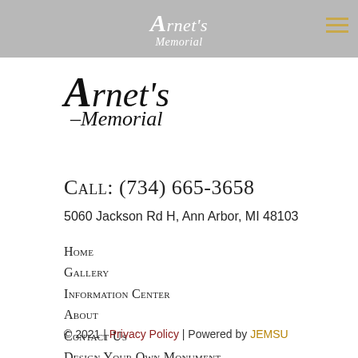Arnet's Memorial
[Figure (logo): Arnet's Memorial logo in italic serif font, large stylized A]
Call: (734) 665-3658
5060 Jackson Rd H, Ann Arbor, MI 48103
Home
Gallery
Information Center
About
Contact Us
Design Your Own Monument
© 2021 | Privacy Policy | Powered by JEMSU